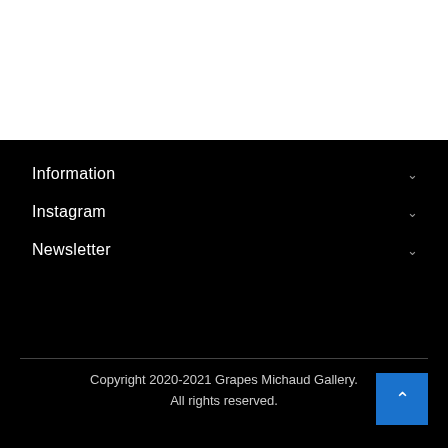Information
Instagram
Newsletter
Copyright 2020-2021 Grapes Michaud Gallery. All rights reserved.